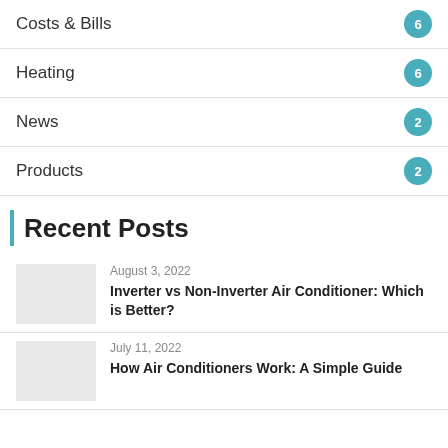Costs & Bills 6
Heating 6
News 2
Products 2
Recent Posts
August 3, 2022
Inverter vs Non-Inverter Air Conditioner: Which is Better?
July 11, 2022
How Air Conditioners Work: A Simple Guide